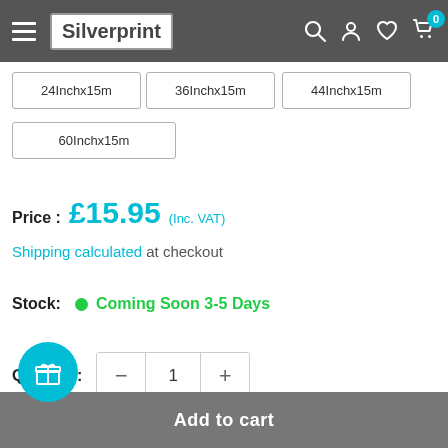Silverprint
24Inchx15m
36Inchx15m
44Inchx15m
60Inchx15m
Price : £15.95 (Inc. VAT)
Shipping calculated at checkout
Stock: Coming Soon 3-5 Days
Quantity: 1
Add to cart